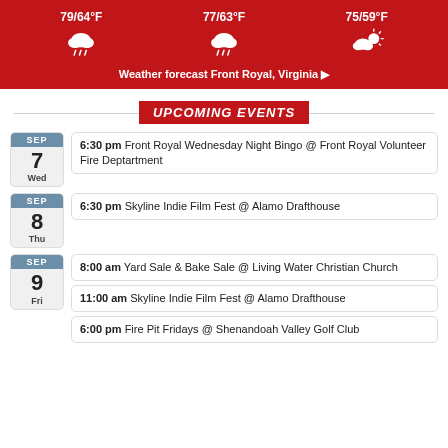[Figure (infographic): Weather forecast banner for Front Royal, Virginia showing three days: 79/64°F with rain/cloud icon, 77/63°F with rain/cloud icon, 75/59°F with partly cloudy icon, and a link 'Weather forecast Front Royal, Virginia ▶']
UPCOMING EVENTS
SEP 7 Wed — 6:30 pm Front Royal Wednesday Night Bingo @ Front Royal Volunteer Fire Deptartment
SEP 8 Thu — 6:30 pm Skyline Indie Film Fest @ Alamo Drafthouse
SEP 9 Fri — 8:00 am Yard Sale & Bake Sale @ Living Water Christian Church
SEP 9 Fri — 11:00 am Skyline Indie Film Fest @ Alamo Drafthouse
SEP 9 Fri — 6:00 pm Fire Pit Fridays @ Shenandoah Valley Golf Club